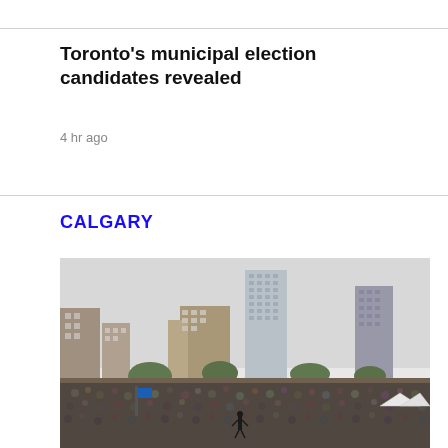Toronto's municipal election candidates revealed
4 hr ago
CALGARY
[Figure (photo): Large outdoor crowd at a festival or rally with Calgary city skyline and modern high-rise buildings in the background. A person stands on a stage in the foreground facing the crowd.]